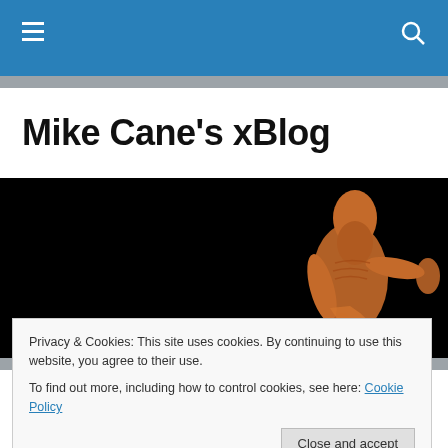Mike Cane's xBlog navigation bar
Mike Cane's xBlog
[Figure (photo): A terracotta sculpture of a gaunt elderly figure against a black background, visible on the right side of the banner image.]
Privacy & Cookies: This site uses cookies. By continuing to use this website, you agree to their use.
To find out more, including how to control cookies, see here: Cookie Policy
I just haven't kept up and there's a new way to invoke the